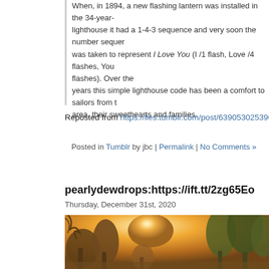When, in 1894, a new flashing lantern was installed in the 34-year-lighthouse it had a 1-4-3 sequence and very soon the number sequence was taken to represent I Love You (I /1 flash, Love /4 flashes, You /3 flashes). Over the years this simple lighthouse code has been a comfort to sailors from the area, their sweethearts and families.
Reposted from https://lies.tumblr.com/post/639053025396342784.
Posted in Tumblr by jbc | Permalink | No Comments »
pearlydewdrops:https://ift.tt/2zg65Eo
Thursday, December 31st, 2020
[Figure (photo): A misty forest scene with trees silhouetted against a warm golden-orange sunrise or sunset, with light filtering through the branches.]